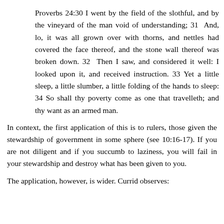Proverbs 24:30 I went by the field of the slothful, and by the vineyard of the man void of understanding; 31 And, lo, it was all grown over with thorns, and nettles had covered the face thereof, and the stone wall thereof was broken down. 32 Then I saw, and considered it well: I looked upon it, and received instruction. 33 Yet a little sleep, a little slumber, a little folding of the hands to sleep: 34 So shall thy poverty come as one that travelleth; and thy want as an armed man.
In context, the first application of this is to rulers, those given the stewardship of government in some sphere (see 10:16-17). If you are not diligent and if you succumb to laziness, you will fail in your stewardship and destroy what has been given to you.
The application, however, is wider. Currid observes: